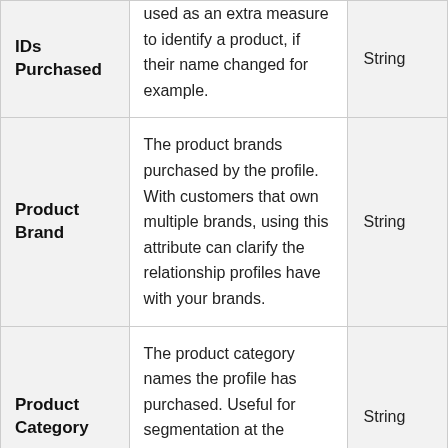| Field | Description | Type |
| --- | --- | --- |
| IDs Purchased | used as an extra measure to identify a product, if their name changed for example. | String |
| Product Brand | The product brands purchased by the profile. With customers that own multiple brands, using this attribute can clarify the relationship profiles have with your brands. | String |
| Product Category | The product category names the profile has purchased. Useful for segmentation at the category level, which will capture larger groups of | String |